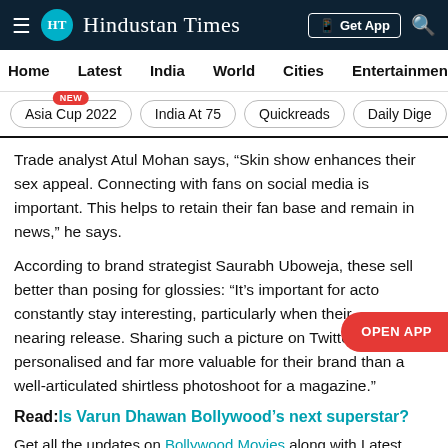HT Hindustan Times | Get App
Home | Latest | India | World | Cities | Entertainment
Asia Cup 2022 (NEW) | India At 75 | Quickreads | Daily Dige
Trade analyst Atul Mohan says, “Skin show enhances their sex appeal. Connecting with fans on social media is important. This helps to retain their fan base and remain in news,” he says.
According to brand strategist Saurabh Uboweja, these sell better than posing for glossies: “It’s important for actors to constantly stay interesting, particularly when their film is nearing release. Sharing such a picture on Twitter makes it personalised and far more valuable for their brand than a well-articulated shirtless photoshoot for a magazine.”
Read: Is Varun Dhawan Bollywood’s next superstar?
Get all the updates on Bollywood Movies along with Latest